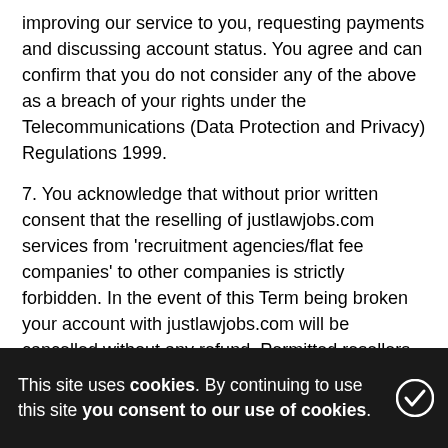improving our service to you, requesting payments and discussing account status. You agree and can confirm that you do not consider any of the above as a breach of your rights under the Telecommunications (Data Protection and Privacy) Regulations 1999.
7. You acknowledge that without prior written consent that the reselling of justlawjobs.com services from 'recruitment agencies/flat fee companies' to other companies is strictly forbidden. In the event of this Term being broken your account with justlawjobs.com will be cancelled without any refund. Permitted resellers are also bound by the following:
You can not sell to direct clients of justlawjobs.com or stop them from using our services.
All posts will be in your own brand.
Adverts cannot name the client.
This site uses cookies. By continuing to use this site you consent to our use of cookies.